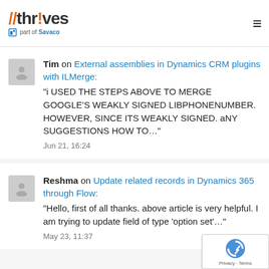//thrives part of Savaco
Tim on External assemblies in Dynamics CRM plugins with ILMerge: "i USED THE STEPS ABOVE TO MERGE GOOGLE'S WEAKLY SIGNED LIBPHONENUMBER. HOWEVER, SINCE ITS WEAKLY SIGNED. aNY SUGGESTIONS HOW TO…" Jun 21, 16:24
Reshma on Update related records in Dynamics 365 through Flow: "Hello, first of all thanks. above article is very helpful. I am trying to update field of type ‘option set’…" May 23, 11:37